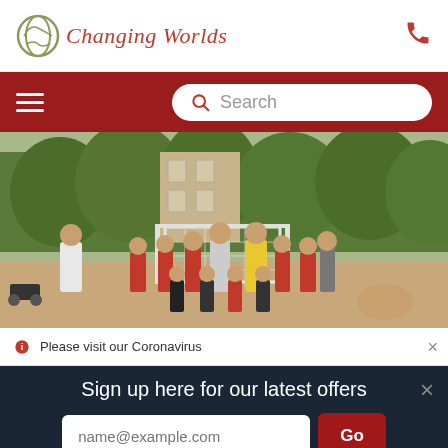Changing Worlds
[Figure (screenshot): Website navigation bar with hamburger menu and search box on dark red background]
[Figure (photo): Group of children and adults posing in front of a football goal on a dirt court, surrounded by trees and buildings in the background]
Please visit our Coronavirus
Sign up here for our latest offers
name@example.com
Go